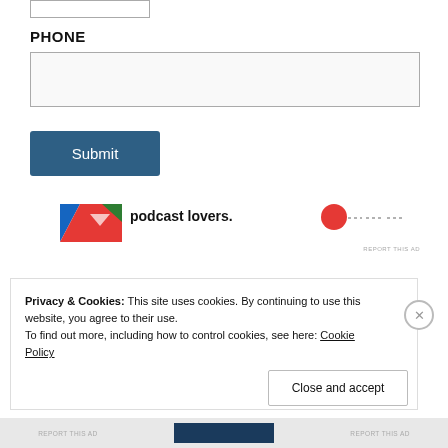PHONE
[Figure (screenshot): Phone input form field (empty text input box)]
[Figure (screenshot): Submit button in dark blue with white text]
[Figure (screenshot): Advertisement banner showing a logo, 'podcast lovers.' text, and partial red circular icon with REPORT THIS AD text]
Privacy & Cookies: This site uses cookies. By continuing to use this website, you agree to their use.
To find out more, including how to control cookies, see here: Cookie Policy
Close and accept